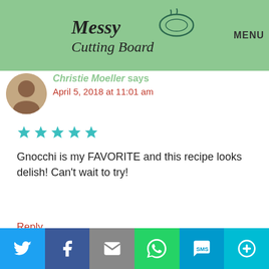Messy Cutting Board — MENU
Christie Moeller says
April 5, 2018 at 11:01 am
[Figure (other): Five teal star rating icons]
Gnocchi is my FAVORITE and this recipe looks delish! Can't wait to try!
Reply
Privacy & Cookies: This site uses cookies. By continuing to use this website, you agree to their use.
To find out more, including how to control cookies, see here: Cookie Policy
Twitter | Facebook | Email | WhatsApp | SMS | More